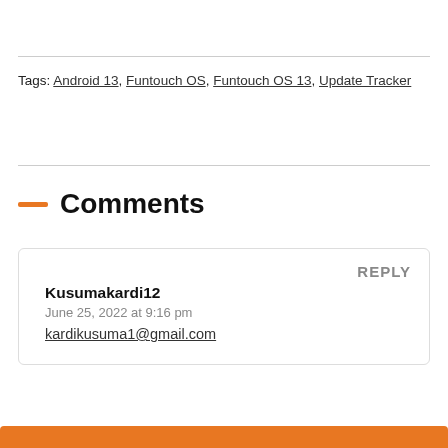Tags: Android 13, Funtouch OS, Funtouch OS 13, Update Tracker
Comments
REPLY
Kusumakardi12
June 25, 2022 at 9:16 pm
kardikusuma1@gmail.com